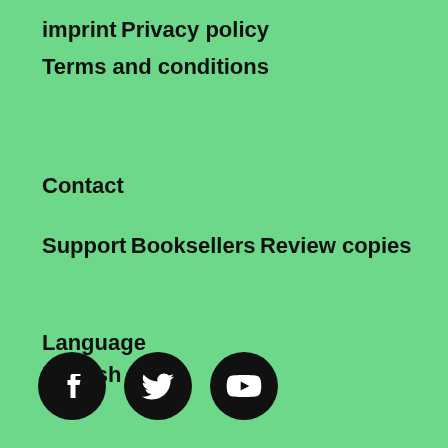imprint
Privacy policy
Terms and conditions
Contact
Support
Booksellers
Review copies
Language
English ▾
[Figure (illustration): Three social media icons in black circles: Facebook, Twitter, YouTube]